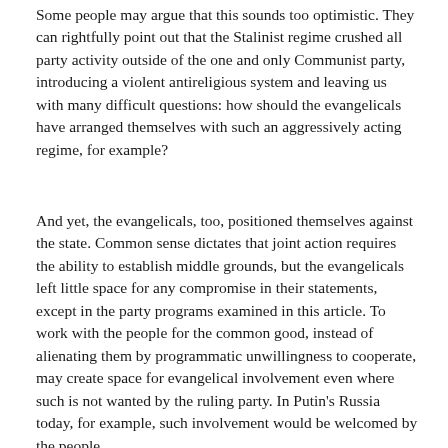Some people may argue that this sounds too optimistic. They can rightfully point out that the Stalinist regime crushed all party activity outside of the one and only Communist party, introducing a violent antireligious system and leaving us with many difficult questions: how should the evangelicals have arranged themselves with such an aggressively acting regime, for example?
And yet, the evangelicals, too, positioned themselves against the state. Common sense dictates that joint action requires the ability to establish middle grounds, but the evangelicals left little space for any compromise in their statements, except in the party programs examined in this article. To work with the people for the common good, instead of alienating them by programmatic unwillingness to cooperate, may create space for evangelical involvement even where such is not wanted by the ruling party. In Putin's Russia today, for example, such involvement would be welcomed by the people.